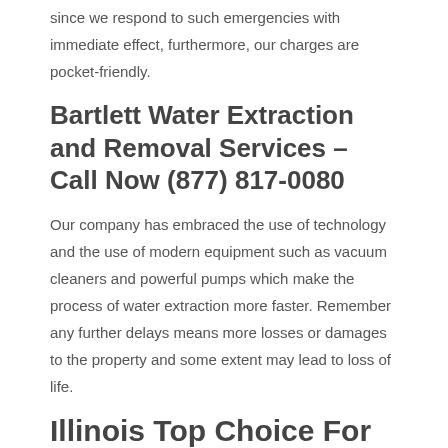since we respond to such emergencies with immediate effect, furthermore, our charges are pocket-friendly.
Bartlett Water Extraction and Removal Services – Call Now (877) 817-0080
Our company has embraced the use of technology and the use of modern equipment such as vacuum cleaners and powerful pumps which make the process of water extraction more faster. Remember any further delays means more losses or damages to the property and some extent may lead to loss of life.
Illinois Top Choice For Basement Flooding and Sump Pump Failure Cleanup
Flooding caused by broken sumps can cause a lot of mess and require quick attention to fix such.This why you need to consider to